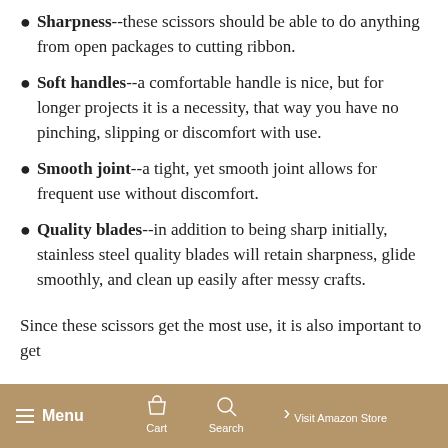Sharpness--these scissors should be able to do anything from open packages to cutting ribbon.
Soft handles--a comfortable handle is nice, but for longer projects it is a necessity, that way you have no pinching, slipping or discomfort with use.
Smooth joint--a tight, yet smooth joint allows for frequent use without discomfort.
Quality blades--in addition to being sharp initially, stainless steel quality blades will retain sharpness, glide smoothly, and clean up easily after messy crafts.
Since these scissors get the most use, it is also important to get
Menu   Cart   Search   Visit Amazon Store